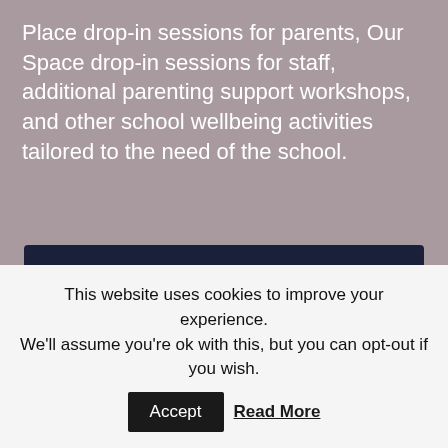Place drop-in sessions for parents, Our Space drop-in sessions for staff, additional parenting support workshops, and other school wellbeing activities tailored to the need of the school.
[Figure (screenshot): Dark navy overlay box showing a CAPTCHA challenge message: 'from your connection. To continue, please confirm that you’re a human (and not a spambot).' with a reCAPTCHA checkbox widget below.]
This website uses cookies to improve your experience. We'll assume you're ok with this, but you can opt-out if you wish.
Accept
Read More